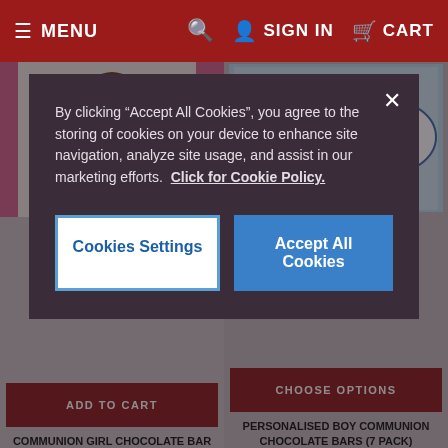≡ MENU | 🔍 | 👤 SIGN IN | 🛒 CART
[Figure (screenshot): Cookie consent modal overlay on an e-commerce website selling communion chocolate bars. Modal has dark purple background with close X button, text about cookie policy, and two buttons: 'Cookies Settings' (white) and 'Accept All Cookies' (blue).]
By clicking "Accept All Cookies", you agree to the storing of cookies on your device to enhance site navigation, analyze site usage, and assist in our marketing efforts.  Click for Cookie Policy.
[Figure (photo): Communion Girl Chocolate Bar product image - pink packaging with girl illustration]
ADD TO CART
COMMUNION GIRL CHOCOLATE BAR
[Figure (photo): Personalised Boy Communion Chocolate Bars (7 pack) product image - blue packaging with boy illustration and text 'Mark's 1st Holy Communion 2022']
CHOOSE OPTIONS
PERSONALISED BOY COMMUNION CHOCOLATE BARS (7 PACK)